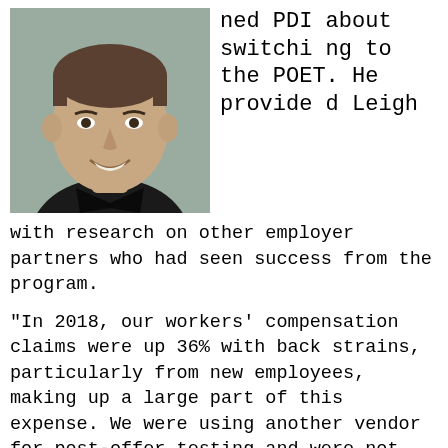[Figure (photo): Headshot of a man in a black collared shirt, smiling, against a grey background]
ned PDI about switching to the POET. He provided Leigh with research on other employer partners who had seen success from the program.
“In 2018, our workers’ compensation claims were up 36% with back strains, particularly from new employees, making up a large part of this expense. We were using another vendor for post-offer testing and were not seeing the result we needed. I decided to do a pilot program with ARC and try the POET. Since